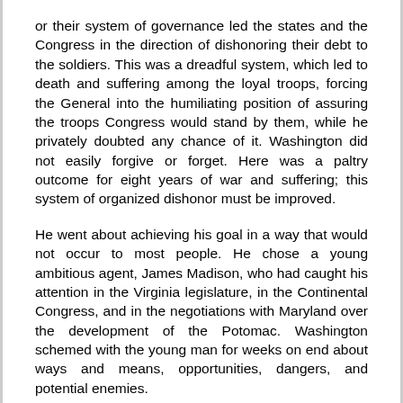or their system of governance led the states and the Congress in the direction of dishonoring their debt to the soldiers. This was a dreadful system, which led to death and suffering among the loyal troops, forcing the General into the humiliating position of assuring the troops Congress would stand by them, while he privately doubted any chance of it. Washington did not easily forgive or forget. Here was a paltry outcome for eight years of war and suffering; this system of organized dishonor must be improved.
He went about achieving his goal in a way that would not occur to most people. He chose a young ambitious agent, James Madison, who had caught his attention in the Virginia legislature, in the Continental Congress, and in the negotiations with Maryland over the development of the Potomac. Washington schemed with the young man for weeks on end about ways and means, opportunities, dangers, and potential enemies.